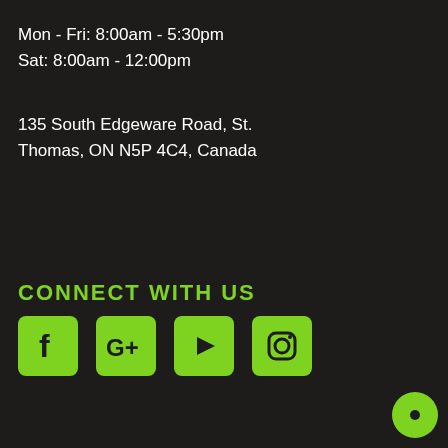Mon - Fri: 8:00am - 5:30pm
Sat: 8:00am - 12:00pm
135 South Edgeware Road, St. Thomas, ON N5P 4C4, Canada
CONNECT WITH US
[Figure (infographic): Social media icons row: Facebook, Google+, YouTube, Instagram, and a chat bubble icon]